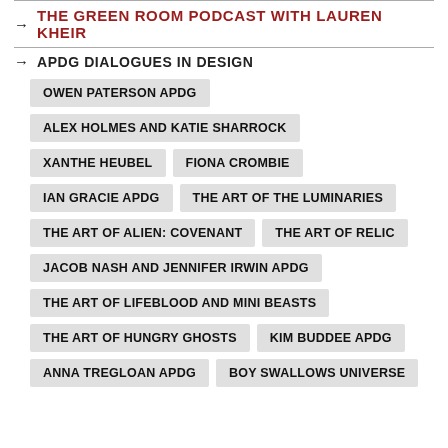THE GREEN ROOM PODCAST WITH LAUREN KHEIR
APDG DIALOGUES IN DESIGN
OWEN PATERSON APDG
ALEX HOLMES AND KATIE SHARROCK
XANTHE HEUBEL
FIONA CROMBIE
IAN GRACIE APDG
THE ART OF THE LUMINARIES
THE ART OF ALIEN: COVENANT
THE ART OF RELIC
JACOB NASH AND JENNIFER IRWIN APDG
THE ART OF LIFEBLOOD AND MINI BEASTS
THE ART OF HUNGRY GHOSTS
KIM BUDDEE APDG
ANNA TREGLOAN APDG
BOY SWALLOWS UNIVERSE